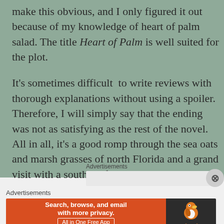make this obvious, and I only figured it out because of my knowledge of heart of palm salad. The title Heart of Palm is well suited for the plot.
It's sometimes difficult  to write reviews with thorough explanations without using a spoiler. Therefore, I will simply say that the ending was not as satisfying as the rest of the novel. All in all, it's a good romp through the sea oats and marsh grasses of north Florida and a grand visit with a southern family at its zaniest best.
Advertisements
Advertisements
[Figure (infographic): DuckDuckGo advertisement banner: orange left side with text 'Search, browse, and email with more privacy. All in One Free App', dark right side with DuckDuckGo duck logo and brand name.]